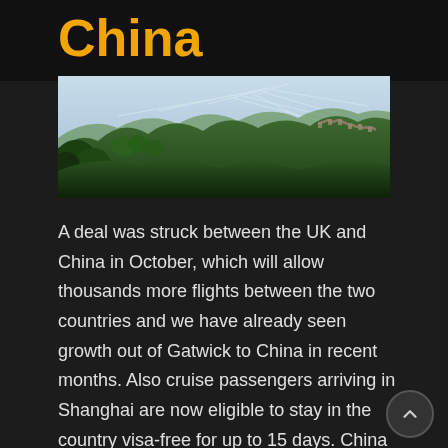China
[Figure (photo): Aerial landscape photo of the Great Wall of China winding along lush green mountain ridges under a dramatic sky with wispy clouds.]
A deal was struck between the UK and China in October, which will allow thousands more flights between the two countries and we have already seen growth out of Gatwick to China in recent months. Also cruise passengers arriving in Shanghai are now eligible to stay in the country visa-free for up to 15 days. China is a vast country with so much to explore